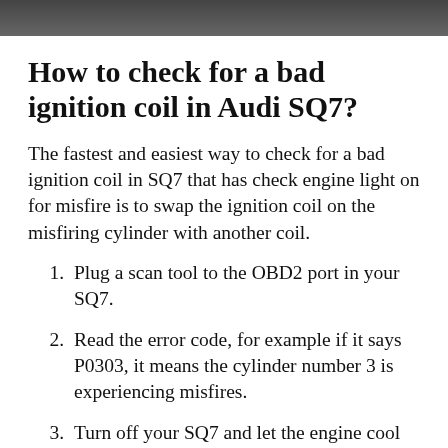[Figure (photo): Dark photo strip at top of page, partially visible image]
How to check for a bad ignition coil in Audi SQ7?
The fastest and easiest way to check for a bad ignition coil in SQ7 that has check engine light on for misfire is to swap the ignition coil on the misfiring cylinder with another coil.
Plug a scan tool to the OBD2 port in your SQ7.
Read the error code, for example if it says P0303, it means the cylinder number 3 is experiencing misfires.
Turn off your SQ7 and let the engine cool down...